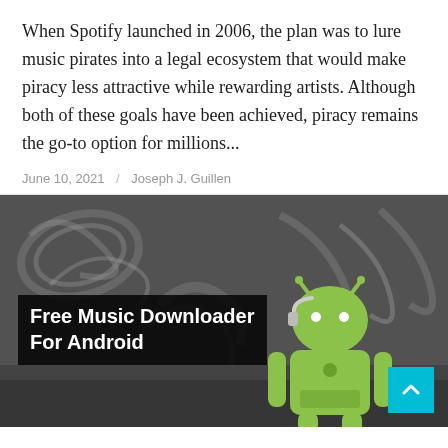When Spotify launched in 2006, the plan was to lure music pirates into a legal ecosystem that would make piracy less attractive while rewarding artists. Although both of these goals have been achieved, piracy remains the go-to option for millions...
June 10, 2021 / Joseph J. Guillen
[Figure (photo): Black and white photo of graffiti wall background with a green Android robot mascot wearing headphones, overlaid with bold white text reading 'Free Music Downloader For Android'. A cyan/teal scroll-to-top button with a white upward chevron is in the bottom right corner.]